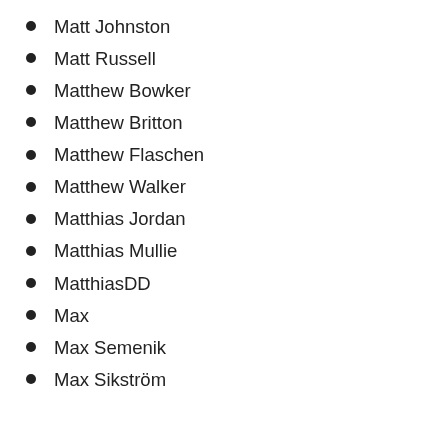Matt Johnston
Matt Russell
Matthew Bowker
Matthew Britton
Matthew Flaschen
Matthew Walker
Matthias Jordan
Matthias Mullie
MatthiasDD
Max
Max Semenik
Max Sikström